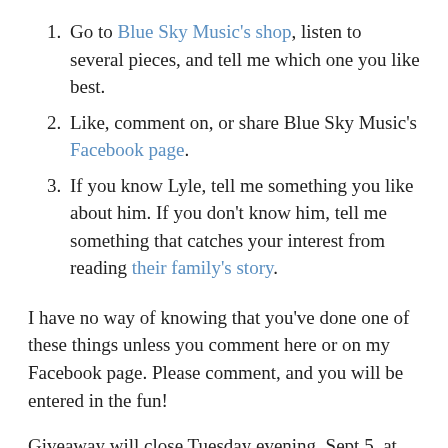Go to Blue Sky Music's shop, listen to several pieces, and tell me which one you like best.
Like, comment on, or share Blue Sky Music's Facebook page.
If you know Lyle, tell me something you like about him. If you don't know him, tell me something that catches your interest from reading their family's story.
I have no way of knowing that you've done one of these things unless you comment here or on my Facebook page. Please comment, and you will be entered in the fun!
Giveaway will close Tuesday evening, Sept 5, at 11:59 pm.